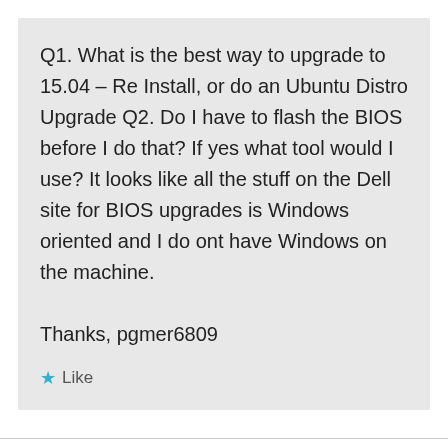Q1. What is the best way to upgrade to 15.04 – Re Install, or do an Ubuntu Distro Upgrade Q2. Do I have to flash the BIOS before I do that? If yes what tool would I use? It looks like all the stuff on the Dell site for BIOS upgrades is Windows oriented and I do ont have Windows on the machine.

Thanks, pgmer6809
★ Like
j on July 27, 2015 at 6:31 pm